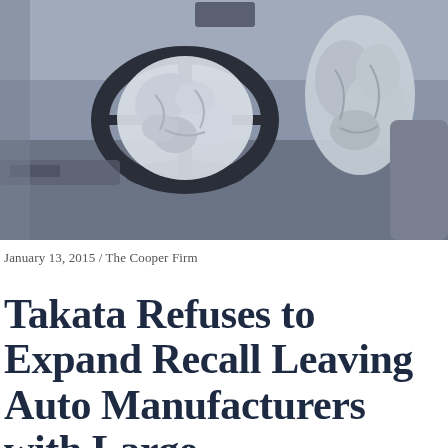[Figure (photo): Interior of a car showing two deployed airbags — one from the steering wheel and one from the passenger side dashboard. The image has a blue-gray desaturated tone.]
January 13, 2015 / The Cooper Firm
Takata Refuses to Expand Recall Leaving Auto Manufacturers with Large